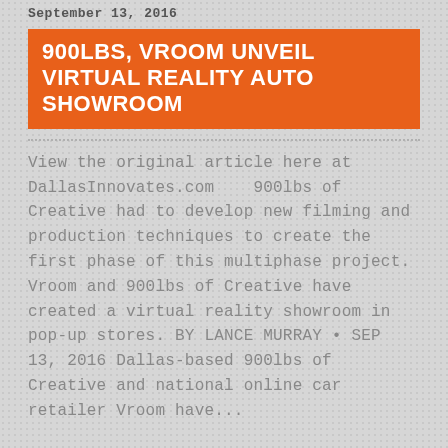September 13, 2016
900LBS, VROOM UNVEIL VIRTUAL REALITY AUTO SHOWROOM
View the original article here at DallasInnovates.com    900lbs of Creative had to develop new filming and production techniques to create the first phase of this multiphase project. Vroom and 900lbs of Creative have created a virtual reality showroom in pop-up stores. BY LANCE MURRAY • SEP 13, 2016 Dallas-based 900lbs of Creative and national online car retailer Vroom have...